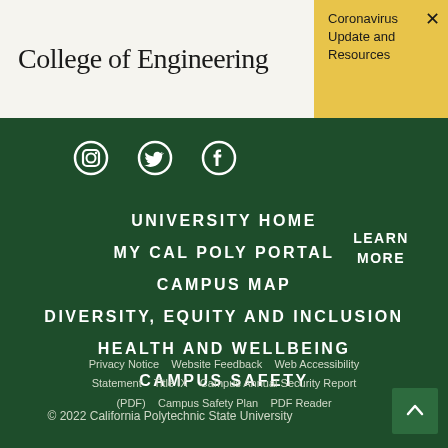College of Engineering
Coronavirus Update and Resources
[Figure (infographic): Social media icons: Instagram, Twitter, Facebook]
LEARN MORE
UNIVERSITY HOME
MY CAL POLY PORTAL
CAMPUS MAP
DIVERSITY, EQUITY AND INCLUSION
HEALTH AND WELLBEING
CAMPUS SAFETY
Privacy Notice   Website Feedback   Web Accessibility Statement   Title IX   Campus Annual Security Report (PDF)   Campus Safety Plan   PDF Reader
© 2022 California Polytechnic State University